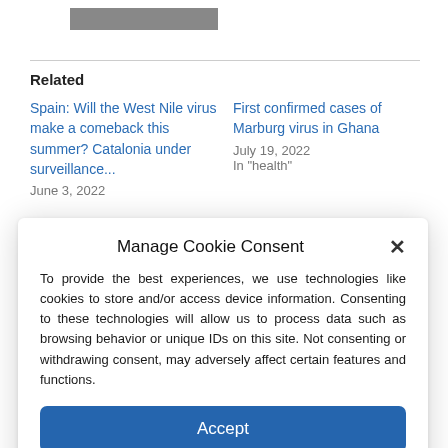[Figure (screenshot): Gray bar placeholder image at top of page]
Related
Spain: Will the West Nile virus make a comeback this summer? Catalonia under surveillance...
June 3, 2022
First confirmed cases of Marburg virus in Ghana
July 19, 2022
In "health"
Manage Cookie Consent
To provide the best experiences, we use technologies like cookies to store and/or access device information. Consenting to these technologies will allow us to process data such as browsing behavior or unique IDs on this site. Not consenting or withdrawing consent, may adversely affect certain features and functions.
Accept
Cookie Policy